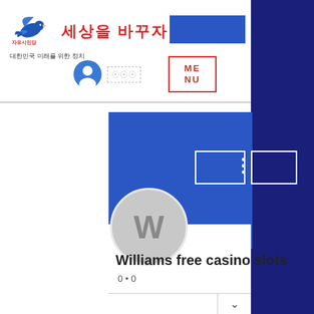[Figure (screenshot): Screenshot of a Korean political party website (자유시민당) with a dove logo, red Korean slogan '세상을 바꾸자!', a blue banner, a MENU button with red border, user icon, and a social media style profile card for 'Williams free casino slots' with avatar placeholder W, stats '0 • 0', and a dropdown chevron. Dark navy panel on the right side.]